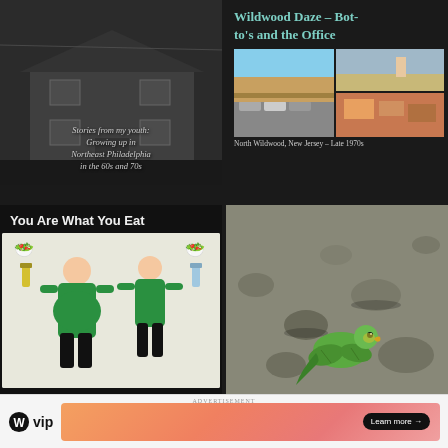[Figure (photo): Book or blog post card showing 'LAWNDALE' title over a black-and-white photo of a row house, with caption 'Stories from my youth: Growing up in Northeast Philadelphia in the 60s and 70s']
[Figure (photo): Card for 'Wildwood Daze – Botto's and the Office' with collage of vintage motel and beach photos from North Wildwood, New Jersey – Late 1970s]
[Figure (photo): Card titled 'You Are What You Eat' showing illustration of two men in green shirts – one overweight with unhealthy food, one fit with healthy food]
[Figure (photo): Photo of a green parakeet or budgie lying on rocky ground]
ADVERTISEMENT
[Figure (logo): WordPress VIP logo with circular W icon and 'vip' text, alongside a gradient orange-pink advertisement banner with 'Learn more →' button]